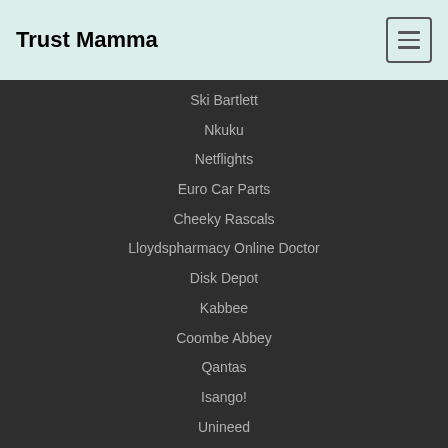Trust Mamma
Ski Bartlett
Nkuku
Netflights
Euro Car Parts
Cheeky Rascals
Lloydspharmacy Online Doctor
Disk Depot
Kabbee
Coombe Abbey
Qantas
Isango!
Unineed
Ao.com
Countries